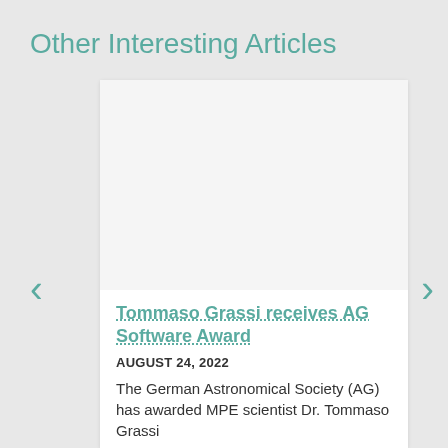Other Interesting Articles
[Figure (photo): Blank white image placeholder for article thumbnail]
Tommaso Grassi receives AG Software Award
AUGUST 24, 2022
The German Astronomical Society (AG) has awarded MPE scientist Dr. Tommaso Grassi